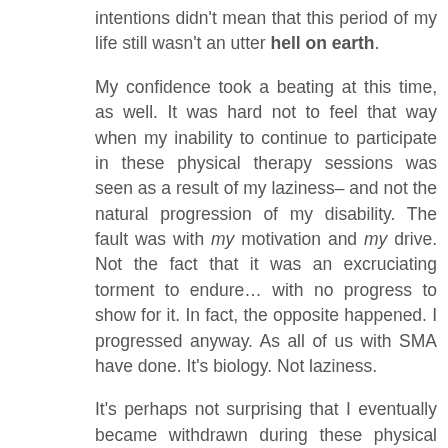intentions didn't mean that this period of my life still wasn't an utter hell on earth.

My confidence took a beating at this time, as well. It was hard not to feel that way when my inability to continue to participate in these physical therapy sessions was seen as a result of my laziness– and not the natural progression of my disability. The fault was with my motivation and my drive. Not the fact that it was an excruciating torment to endure… with no progress to show for it. In fact, the opposite happened. I progressed anyway. As all of us with SMA have done. It's biology. Not laziness.

It's perhaps not surprising that I eventually became withdrawn during these physical therapy sessions… and then increasingly uncooperative. Finally, it got to the point where during designated therapy time, I would hide in corners of the elementary school so